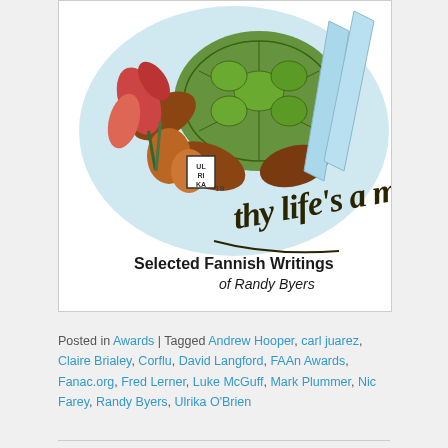[Figure (illustration): Book cover showing a sea turtle illustration with colorful plants, calligraphic text 'thy life's a m...' and text 'Selected Fannish Writings of Randy Byers'. Artist mark 'UL RI KA' with copyright symbol.]
Posted in Awards | Tagged Andrew Hooper, carl juarez, Claire Brialey, Corflu, David Langford, FAAn Awards, Fanac.org, Fred Lerner, Luke McGuff, Mark Plummer, Nic Farey, Randy Byers, Ulrika O'Brien